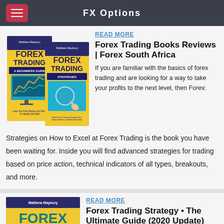FX Options
[Figure (illustration): Two Forex trading book covers side by side: 'Forex Trading: A Beginners Guide' and 'Forex Trading Strategies' by Matthew Maybury]
READ MORE
Forex Trading Books Reviews | Forex South Africa
If you are familiar with the basics of forex trading and are looking for a way to take your profits to the next level, then Forex: Strategies on How to Excel at Forex Trading is the book you have been waiting for. Inside you will find advanced strategies for trading based on price action, technical indicators of all types, breakouts, and more.
[Figure (illustration): Forex Trading Strategies book cover by Matthew Maybury with teal/aqua background and bold text]
READ MORE
Forex Trading Strategy • The Ultimate Guide (2020 Update)